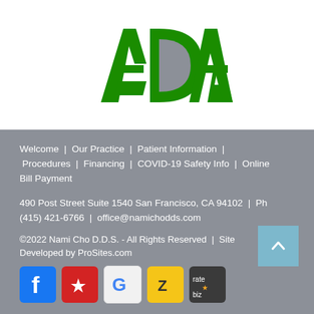[Figure (logo): ADA (American Dental Association) logo in green text]
Welcome  |  Our Practice  |  Patient Information  |  Procedures  |  Financing  |  COVID-19 Safety Info  |  Online Bill Payment
490 Post Street Suite 1540 San Francisco, CA 94102  |  Ph (415) 421-6766  |  office@namichodds.com
©2022 Nami Cho D.D.S. - All Rights Reserved  |  Site Developed by ProSites.com
[Figure (logo): Social media icons: Facebook, Yelp, Google, ZocDoc, RateBiz]